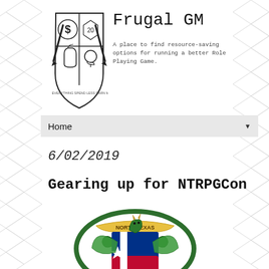[Figure (logo): Frugal GM shield/crest logo with pencil, dollar sign, bag, and lightbulb]
Frugal GM
A place to find resource-saving options for running a better Role Playing Game.
Home ▼
6/02/2019
Gearing up for NTRPGCon
[Figure (illustration): NTRPGCon logo: a green dragon holding a Texas flag shield with 'North Texas' banner on top]